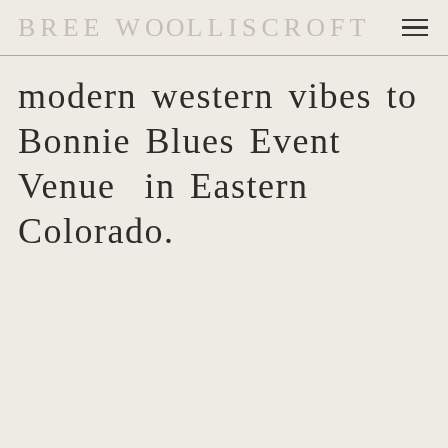BREE WOOLLISCROFT
modern western vibes to Bonnie Blues Event Venue in Eastern Colorado.